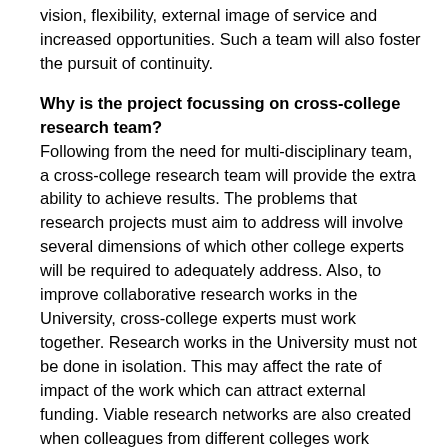vision, flexibility, external image of service and increased opportunities. Such a team will also foster the pursuit of continuity.
Why is the project focussing on cross-college research team?
Following from the need for multi-disciplinary team, a cross-college research team will provide the extra ability to achieve results. The problems that research projects must aim to address will involve several dimensions of which other college experts will be required to adequately address. Also, to improve collaborative research works in the University, cross-college experts must work together. Research works in the University must not be done in isolation. This may affect the rate of impact of the work which can attract external funding. Viable research networks are also created when colleagues from different colleges work together.